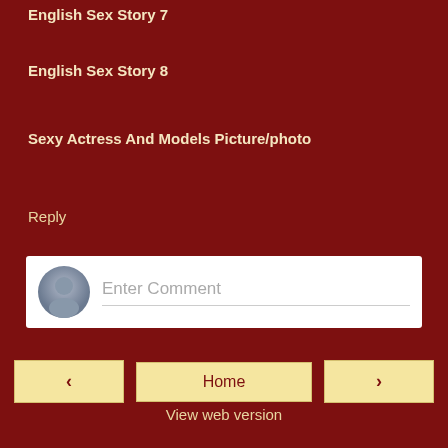English Sex Story 7
English Sex Story 8
Sexy Actress And Models Picture/photo
Reply
[Figure (screenshot): Comment input box with avatar placeholder and 'Enter Comment' placeholder text]
< Home >
View web version